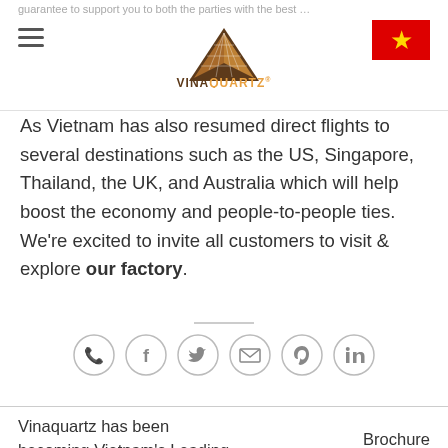VINAQUARTZ
guarantee to support you to both the parties with the best …
As Vietnam has also resumed direct flights to several destinations such as the US, Singapore, Thailand, the UK, and Australia which will help boost the economy and people-to-people ties. We're excited to invite all customers to visit & explore our factory.
[Figure (infographic): Row of 6 social media icon circles: WhatsApp, Facebook, Twitter, Email, Pinterest, LinkedIn]
Vinaquartz has been becoming Vietnam's Leading
Brochure